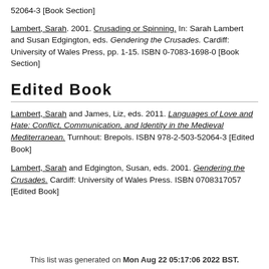52064-3 [Book Section]
Lambert, Sarah. 2001. Crusading or Spinning. In: Sarah Lambert and Susan Edgington, eds. Gendering the Crusades. Cardiff: University of Wales Press, pp. 1-15. ISBN 0-7083-1698-0 [Book Section]
Edited Book
Lambert, Sarah and James, Liz, eds. 2011. Languages of Love and Hate: Conflict, Communication, and Identity in the Medieval Mediterranean. Turnhout: Brepols. ISBN 978-2-503-52064-3 [Edited Book]
Lambert, Sarah and Edgington, Susan, eds. 2001. Gendering the Crusades. Cardiff: University of Wales Press. ISBN 0708317057 [Edited Book]
This list was generated on Mon Aug 22 05:17:06 2022 BST.